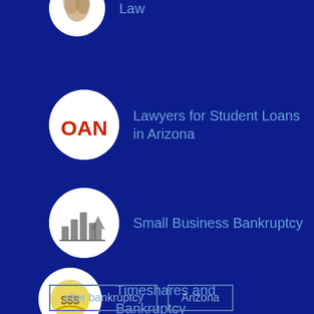Law
Lawyers for Student Loans in Arizona
Small Business Bankruptcy
Timeshares and Bankruptcy
Tags
after bankruptcy
Arizona